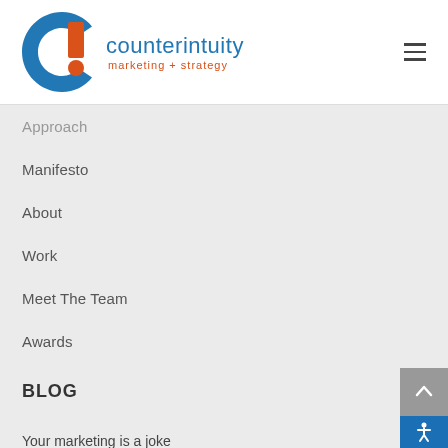[Figure (logo): Counterintuity marketing + strategy logo with blue C and orange exclamation mark]
Approach
Manifesto
About
Work
Meet The Team
Awards
BLOG
Your marketing is a joke
Get to the point
Great news! The recession is coming
4 ways to build trust in your organization